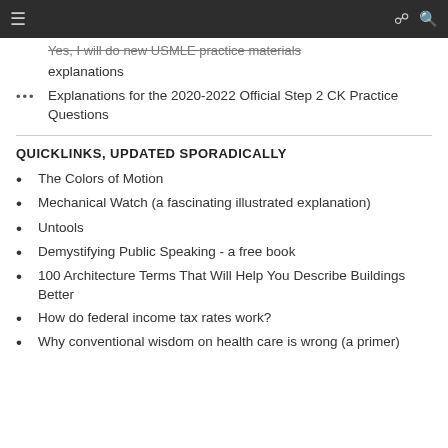≡  ∞  🔍
Yes, I will do new USMLE practice materials explanations
Explanations for the 2020-2022 Official Step 2 CK Practice Questions
QUICKLINKS, UPDATED SPORADICALLY
The Colors of Motion
Mechanical Watch (a fascinating illustrated explanation)
Untools
Demystifying Public Speaking - a free book
100 Architecture Terms That Will Help You Describe Buildings Better
How do federal income tax rates work?
Why conventional wisdom on health care is wrong (a primer)